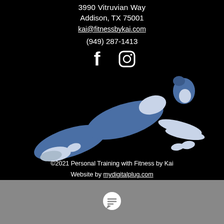3990 Vitruvian Way
Addison, TX 75001
kai@fitnessbykai.com
(949) 287-1413
[Figure (illustration): Facebook and Instagram social media icons in white on black background]
[Figure (illustration): Illustration of a woman in blue athletic wear doing a push-up/plank position exercise on black background]
©2021 Personal Training with Fitness by Kai
Website by mydigitalplug.com
Cloud Server by mydigitalcluster.com
[Figure (illustration): Grey chat/message button bar at the bottom of the page with a white speech bubble icon]